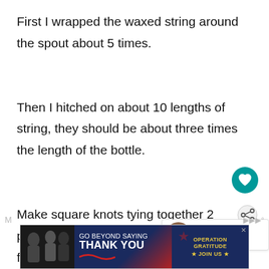First I wrapped the waxed string around the spout about 5 times.
Then I hitched on about 10 lengths of string, they should be about three times the length of the bottle.
Make square knots tying together 2 pieces of string, one from the left and one from t
[Figure (other): Teal circular heart/favorite button]
[Figure (other): Share button icon]
[Figure (other): What's Next callout with thumbnail image and text: Appreciating an Old...]
[Figure (other): Advertisement banner: GO BEYOND SAYING THANK YOU - Operation Gratitude JOIN US]